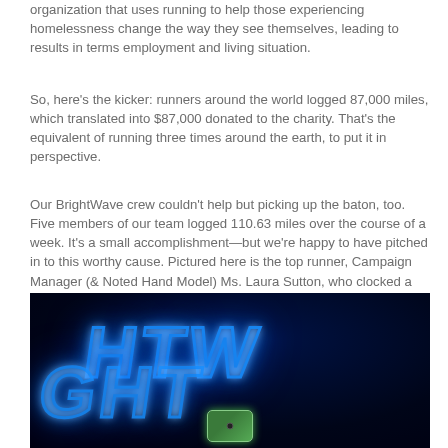organization that uses running to help those experiencing homelessness change the way they see themselves, leading to results in terms employment and living situation.
So, here's the kicker: runners around the world logged 87,000 miles, which translated into $87,000 donated to the charity. That's the equivalent of running three times around the earth, to put it in perspective.
Our BrightWave crew couldn't help but picking up the baton, too. Five members of our team logged 110.63 miles over the course of a week. It's a small accomplishment—but we're happy to have pitched in to this worthy cause. Pictured here is the top runner, Campaign Manager (& Noted Hand Model) Ms. Laura Sutton, who clocked a whopping 33.40 miles in one week. Take that homelessness!
[Figure (photo): Dark photo with blue neon glowing text spelling 'BRIGHTWAVE' and a hand holding a mobile phone with green screen at the bottom.]